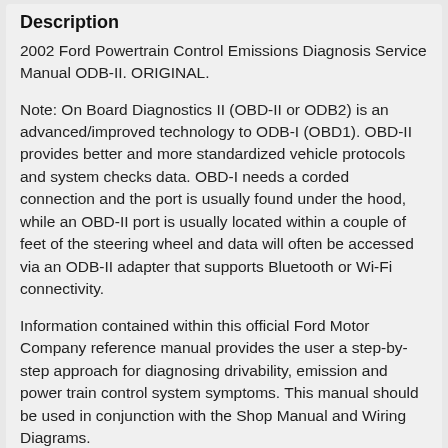Description
2002 Ford Powertrain Control Emissions Diagnosis Service Manual ODB-II. ORIGINAL.
Note: On Board Diagnostics II (OBD-II or ODB2) is an advanced/improved technology to ODB-I (OBD1). OBD-II provides better and more standardized vehicle protocols and system checks data. OBD-I needs a corded connection and the port is usually found under the hood, while an OBD-II port is usually located within a couple of feet of the steering wheel and data will often be accessed via an ODB-II adapter that supports Bluetooth or Wi-Fi connectivity.
Information contained within this official Ford Motor Company reference manual provides the user a step-by-step approach for diagnosing drivability, emission and power train control system symptoms. This manual should be used in conjunction with the Shop Manual and Wiring Diagrams. It is an NIST-labeled document.